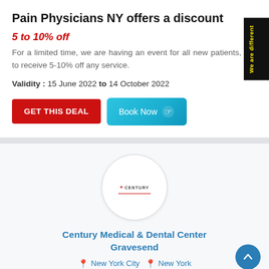Pain Physicians NY offers a discount
5 to 10% off
For a limited time, we are having an event for all new patients, to receive 5-10% off any service.
Validity : 15 June 2022 to 14 October 2022
[Figure (other): GET THIS DEAL and Book Now buttons]
[Figure (logo): Century Medical & Dental Center logo inside a circular frame]
Century Medical & Dental Center Gravesend
New York City  New York
Century Medical & Dental Center offers a discount